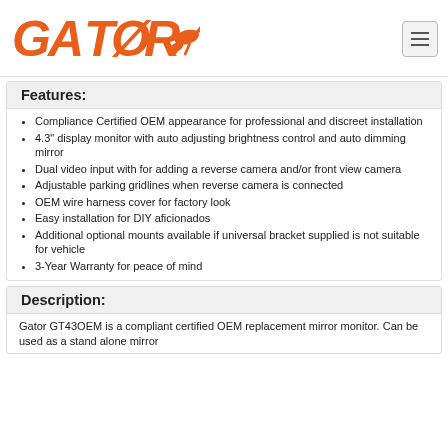[Figure (logo): Gator brand logo in orange with stylized text and alligator graphic]
Features:
Compliance Certified OEM appearance for professional and discreet installation
4.3" display monitor with auto adjusting brightness control and auto dimming mirror
Dual video input with for adding a reverse camera and/or front view camera
Adjustable parking gridlines when reverse camera is connected
OEM wire harness cover for factory look
Easy installation for DIY aficionados
Additional optional mounts available if universal bracket supplied is not suitable for vehicle
3-Year Warranty for peace of mind
Description:
Gator GT43OEM is a compliant certified OEM replacement mirror monitor. Can be used as a stand alone mirror...